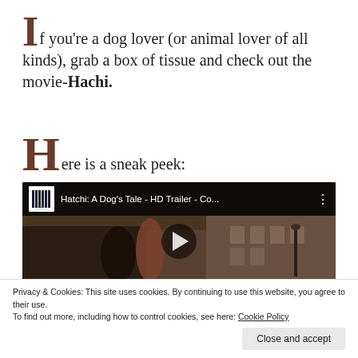If you're a dog lover (or animal lover of all kinds), grab a box of tissue and check out the movie-Hachi.
Here is a sneak peek:
[Figure (screenshot): YouTube video embed showing Hatchi: A Dog's Tale - HD Trailer - Co... with Sony Pictures Home logo, play button, and dark cinematic scene]
Privacy & Cookies: This site uses cookies. By continuing to use this website, you agree to their use.
To find out more, including how to control cookies, see here: Cookie Policy
Close and accept